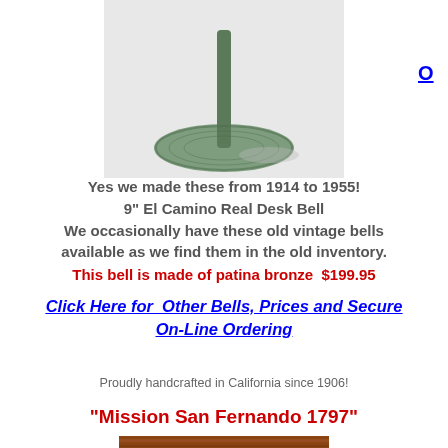[Figure (photo): Close-up photo of a patina bronze desk bell with a round base and metal stand, on a white/gray background]
Yes we made these from 1914 to 1955!
9" El Camino Real Desk Bell
We occasionally have these old vintage bells available as we find them in the old inventory.
This bell is made of patina bronze  $199.95
Click Here for  Other Bells, Prices and Secure On-Line Ordering
Proudly handcrafted in California since 1906!
"Mission San Fernando 1797"
[Figure (photo): Bottom portion of photo showing wood/brick texture background for Mission San Fernando 1797 bell]